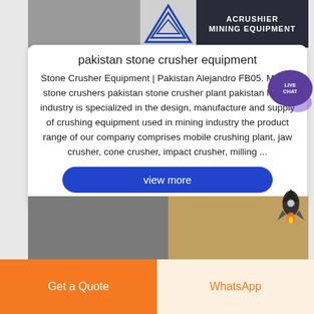[Figure (photo): Top banner with a photo of industrial/mining equipment on the left, a triangular logo in the center, and dark background with 'ACRUSHIER MINING EQUIPMENT' text on the right]
pakistan stone crusher equipment
Stone Crusher Equipment | Pakistan Alejandro FB05. Mobile stone crushers pakistan stone crusher plant pakistan heavy industry is specialized in the design, manufacture and supply of crushing equipment used in mining industry the product range of our company comprises mobile crushing plant, jaw crusher, cone crusher, impact crusher, milling ...
[Figure (screenshot): Blue rounded button with text 'view more']
[Figure (photo): Bottom photo strip showing construction/industrial building scenes]
Get a Quote
WhatsApp